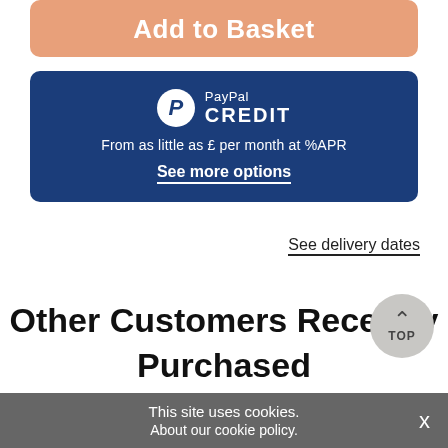[Figure (other): Add to Basket button — salmon/peach colored rounded rectangle button]
[Figure (other): PayPal Credit banner — dark blue rounded rectangle with PayPal Credit logo, tagline 'From as little as £ per month at %APR', and 'See more options' link]
See delivery dates
Other Customers Recently Purchased
This site uses cookies. About our cookie policy.